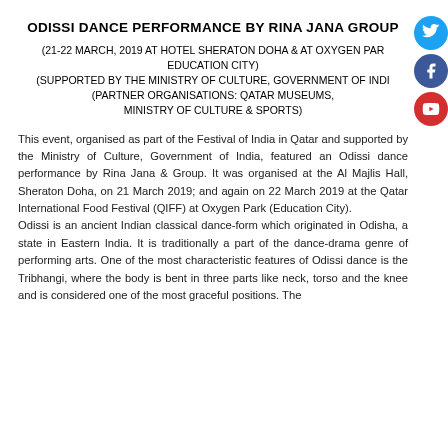ODISSI DANCE PERFORMANCE BY RINA JANA GROUP
(21-22 MARCH, 2019 AT HOTEL SHERATON DOHA & AT OXYGEN PARK, EDUCATION CITY)
(SUPPORTED BY THE MINISTRY OF CULTURE, GOVERNMENT OF INDIA)
(PARTNER ORGANISATIONS: QATAR MUSEUMS, MINISTRY OF CULTURE & SPORTS)
This event, organised as part of the Festival of India in Qatar and supported by the Ministry of Culture, Government of India, featured an Odissi dance performance by Rina Jana & Group. It was organised at the Al Majlis Hall, Sheraton Doha, on 21 March 2019; and again on 22 March 2019 at the Qatar International Food Festival (QIFF) at Oxygen Park (Education City).
Odissi is an ancient Indian classical dance-form which originated in Odisha, a state in Eastern India. It is traditionally a part of the dance-drama genre of performing arts. One of the most characteristic features of Odissi dance is the Tribhangi, where the body is bent in three parts like neck, torso and the knee and is considered one of the most graceful positions. The